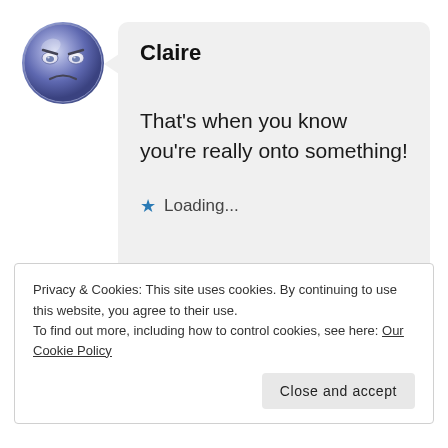[Figure (illustration): Blue/purple angry emoticon face avatar, circular, with furrowed brows and frowning expression]
Claire
That's when you know you're really onto something!
★ Loading...
Privacy & Cookies: This site uses cookies. By continuing to use this website, you agree to their use.
To find out more, including how to control cookies, see here: Our Cookie Policy
Close and accept
f g